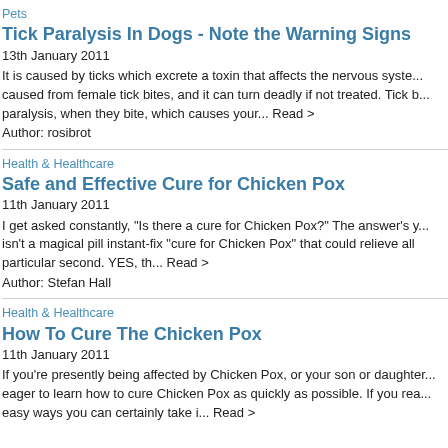Pets
Tick Paralysis In Dogs - Note the Warning Signs
13th January 2011
It is caused by ticks which excrete a toxin that affects the nervous system caused from female tick bites, and it can turn deadly if not treated. Tick b... paralysis, when they bite, which causes your... Read >
Author: rosibrot
Health & Healthcare
Safe and Effective Cure for Chicken Pox
11th January 2011
I get asked constantly, "Is there a cure for Chicken Pox?" The answer's y... isn't a magical pill instant-fix "cure for Chicken Pox" that could relieve all particular second. YES, th... Read >
Author: Stefan Hall
Health & Healthcare
How To Cure The Chicken Pox
11th January 2011
If you're presently being affected by Chicken Pox, or your son or daughter... eager to learn how to cure Chicken Pox as quickly as possible. If you rea... easy ways you can certainly take i... Read >